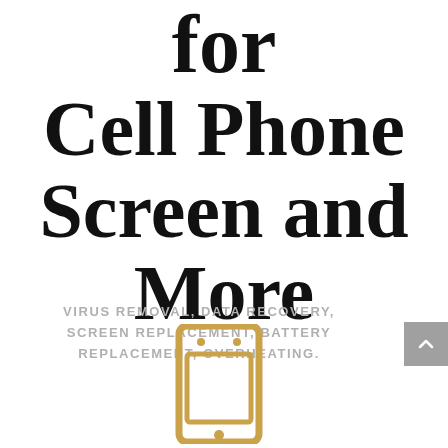for Cell Phone Screen and More
VIRUS REMOVAL, DATA RECOVERY, SCREEN REPLACEMENT, BATTERY REPLACEMENT, OVERHEATING.
[Figure (illustration): A golden/tan outlined cell phone icon at the bottom center of the page]